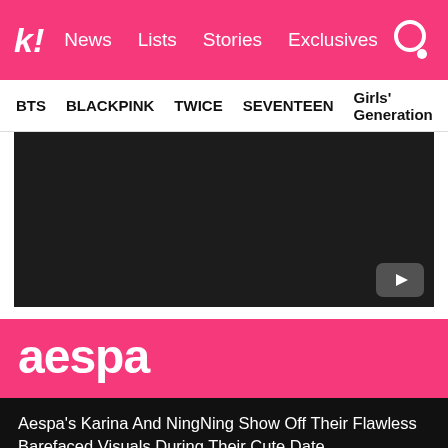k! News Lists Stories Exclusives
BTS  BLACKPINK  TWICE  SEVENTEEN  Girls' Generation
[Figure (screenshot): Dark video player area with a YouTube play button icon in the bottom-right corner]
aespa
Aespa's Karina And NingNing Show Off Their Flawless Barefaced Visuals During Their Cute Date
10 Times Aespa's Karina Got Super Flirty With Girls
10 Times aespa's Karina Looked Stunning In Bangs, Living Up To Her “Human CG” Nickname